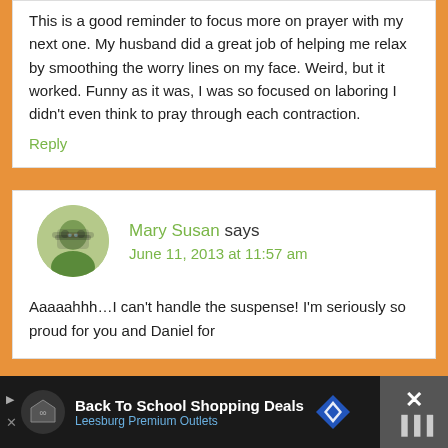This is a good reminder to focus more on prayer with my next one. My husband did a great job of helping me relax by smoothing the worry lines on my face. Weird, but it worked. Funny as it was, I was so focused on laboring I didn't even think to pray through each contraction.
Reply
Mary Susan says
June 11, 2013 at 11:57 am
Aaaaahhh…I can't handle the suspense! I'm seriously so proud for you and Daniel for
[Figure (infographic): Advertisement banner for Back To School Shopping Deals at Leesburg Premium Outlets with logo icons and a close button]